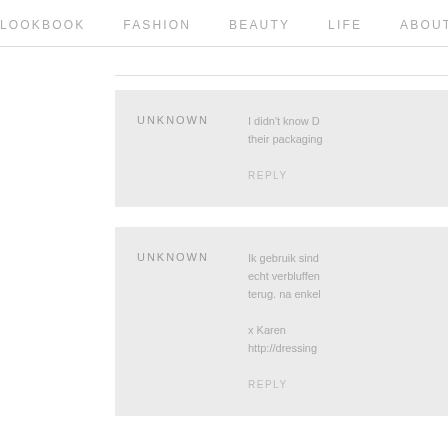LOOKBOOK   FASHION   BEAUTY   LIFE   ABOUT
UNKNOWN
I didn't know D their packaging
REPLY
UNKNOWN
Ik gebruik sind echt verbluffen terug. na enkel
x Karen
http://dressing
REPLY